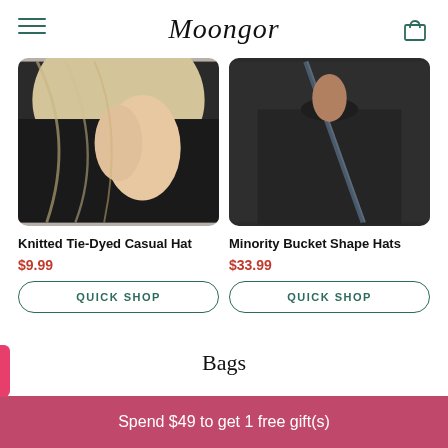Moongor
[Figure (photo): Photo of person with blonde hair wearing dark clothing, showing hand and jewelry - product photo for knitted tie-dyed casual hat]
Knitted Tie-Dyed Casual Hat
$9.99
QUICK SHOP
[Figure (photo): Photo of person wearing dark t-shirt with crossbody strap bag - product photo for minority bucket shape hats]
Minority Bucket Shape Hats
$33.99
QUICK SHOP
Bags
Spend $49 to get 1 free gift(s)